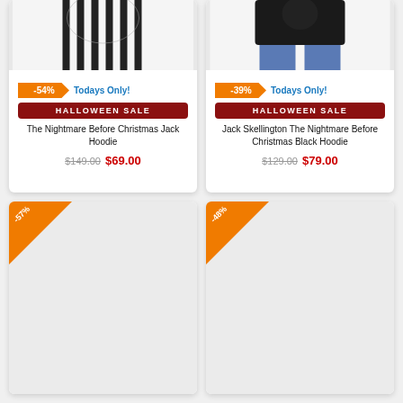[Figure (photo): Top half of a black and white striped hoodie on a model, cropped]
-54%  Todays Only!
HALLOWEEN SALE
The Nightmare Before Christmas Jack Hoodie
$149.00  $69.00
[Figure (photo): Person wearing a black hoodie with jeans, torso/waist area cropped]
-39%  Todays Only!
HALLOWEEN SALE
Jack Skellington The Nightmare Before Christmas Black Hoodie
$129.00  $79.00
[Figure (photo): Product card with -57% corner badge, image loading/blank]
[Figure (photo): Product card with -48% corner badge, image loading/blank]